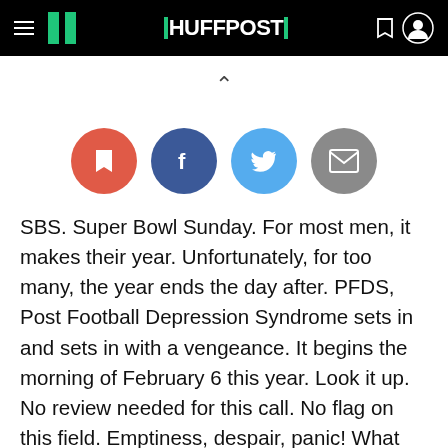HUFFPOST
[Figure (infographic): Social sharing buttons row: bookmark (red), Facebook (dark blue), Twitter (light blue), email (gray)]
SBS. Super Bowl Sunday. For most men, it makes their year. Unfortunately, for too many, the year ends the day after. PFDS, Post Football Depression Syndrome sets in and sets in with a vengeance. It begins the morning of February 6 this year. Look it up. No review needed for this call. No flag on this field. Emptiness, despair, panic! What now? PFDS is an all out blitz that hits most American males the day after the Super